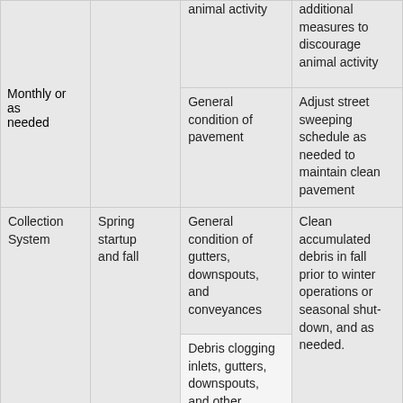| Component | Frequency | Inspection Focus | Corrective Action |
| --- | --- | --- | --- |
|  |  | animal activity | additional measures to discourage animal activity |
|  | Monthly or as needed | General condition of pavement | Adjust street sweeping schedule as needed to maintain clean pavement |
| Collection System | Spring startup and fall | General condition of gutters, downspouts, and conveyances
Debris clogging inlets, gutters, downspouts, and other conveyances | Clean accumulated debris in fall prior to winter operations or seasonal shut-down, and as needed. |